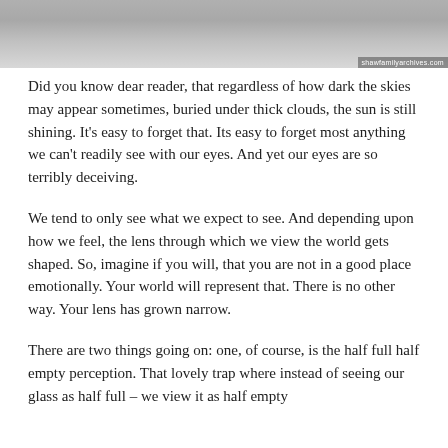[Figure (photo): Black and white photograph of a person, partially cropped, with watermark 'shawfamilyarchives.com' in the bottom right corner.]
Did you know dear reader, that regardless of how dark the skies may appear sometimes, buried under thick clouds, the sun is still shining. It's easy to forget that. Its easy to forget most anything we can't readily see with our eyes. And yet our eyes are so terribly deceiving.
We tend to only see what we expect to see. And depending upon how we feel, the lens through which we view the world gets shaped. So, imagine if you will, that you are not in a good place emotionally. Your world will represent that. There is no other way. Your lens has grown narrow.
There are two things going on: one, of course, is the half full half empty perception. That lovely trap where instead of seeing our glass as half full – we view it as half empty